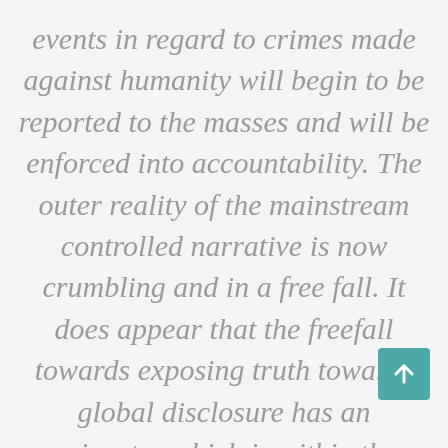events in regard to crimes made against humanity will begin to be reported to the masses and will be enforced into accountability. The outer reality of the mainstream controlled narrative is now crumbling and in a free fall. It does appear that the freefall towards exposing truth towards global disclosure has an epicenter which is within the United States, and to which the web of the transnational criminal syndicates are being exposed through several foreign